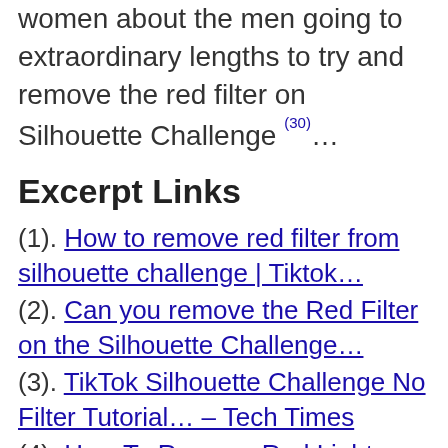women about the men going to extraordinary lengths to try and remove the red filter on Silhouette Challenge (30)…
Excerpt Links
(1). How to remove red filter from silhouette challenge | Tiktok…
(2). Can you remove the Red Filter on the Silhouette Challenge…
(3). TikTok Silhouette Challenge No Filter Tutorial… – Tech Times
(4). How To Remove Red Light Filter – All